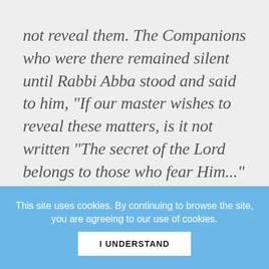not reveal them. The Companions who were there remained silent until Rabbi Abba stood and said to him, "If our master wishes to reveal these matters, is it not written "The secret of the Lord belongs to those who fear Him..." - The Zohar
This site uses cookies. By continuing to browse the site, you are agreeing to our use of cookies.
I UNDERSTAND